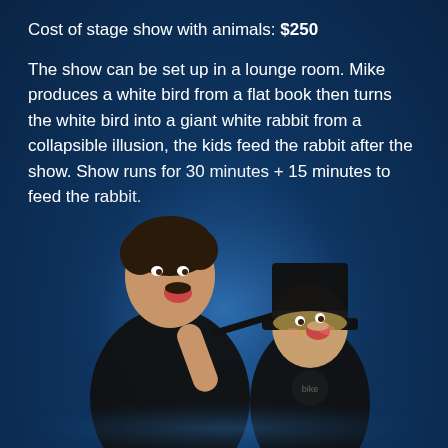Cost of stage show with animals: $250

The show can be set up in a lounge room. Mike produces a white bird from a flat book then turns the white bird into a giant white rabbit from a collapsible illusion, the kids feed the rabbit after the show. Show runs for 30 minutes + 15 minutes to feed the rabbit.
[Figure (photo): A man in black (magician/performer) facing a young child wearing a black top hat. The man holds a magic wand horizontally between them, both are laughing/smiling. Dark background with a soft light glow behind them.]